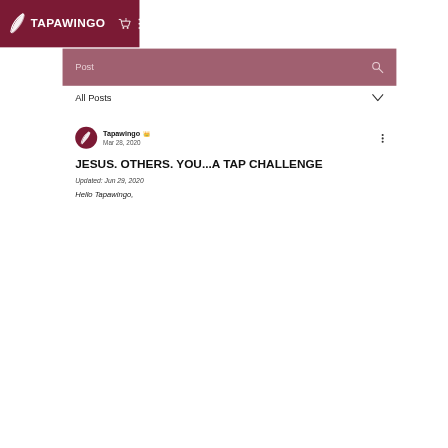TAPAWINGO
Post
All Posts
Tapawingo 👑
Mar 28, 2020
JESUS. OTHERS. YOU...A TAP CHALLENGE
Updated: Jun 29, 2020
Hello Tapawingo,